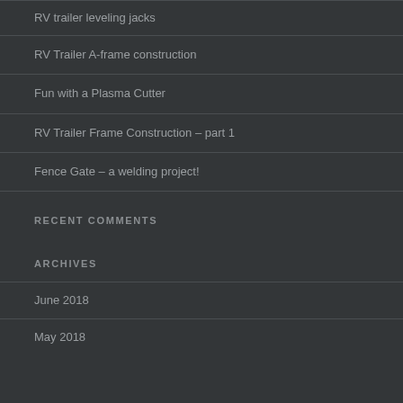RV trailer leveling jacks
RV Trailer A-frame construction
Fun with a Plasma Cutter
RV Trailer Frame Construction – part 1
Fence Gate – a welding project!
RECENT COMMENTS
ARCHIVES
June 2018
May 2018